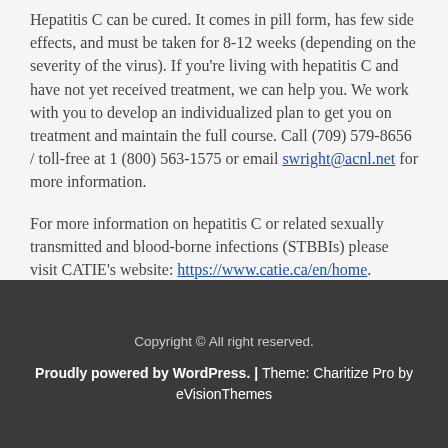Hepatitis C can be cured. It comes in pill form, has few side effects, and must be taken for 8-12 weeks (depending on the severity of the virus). If you're living with hepatitis C and have not yet received treatment, we can help you. We work with you to develop an individualized plan to get you on treatment and maintain the full course. Call (709) 579-8656 / toll-free at 1 (800) 563-1575 or email swright@acnl.net for more information.
For more information on hepatitis C or related sexually transmitted and blood-borne infections (STBBIs) please visit CATIE's website: https://www.catie.ca/en/home.
Copyright © All right reserved. Proudly powered by WordPress. | Theme: Charitize Pro by eVisionThemes